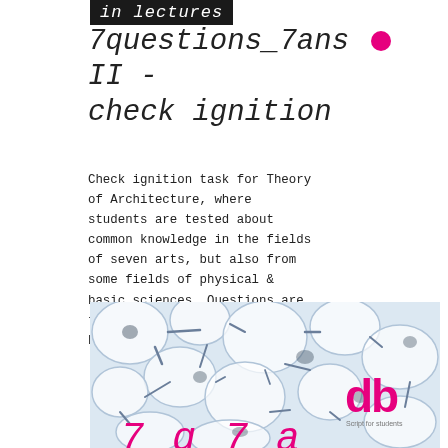in lectures
7questions_7ans  ●  II - check ignition
Check ignition task for Theory of Architecture, where students are tested about common knowledge in the fields of seven arts, but also from some fields of physical & basic sciences. Questions are text based and also pictures based.
[Figure (illustration): Neuron/bubble network illustration with light blue bubble cells and dark connective strands. Contains 'db' logo in magenta/pink in the lower right corner with 'Script for students' text below. Bottom shows partial text '7_q 7 a' in magenta italic font.]